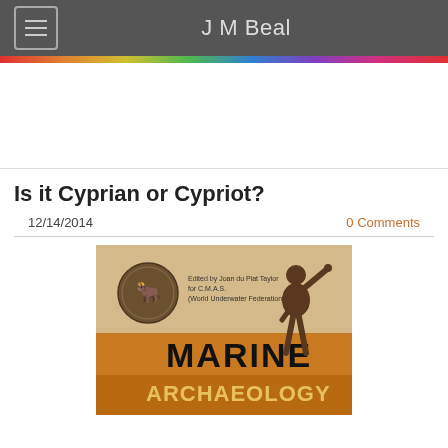J M Beal
Is it Cyprian or Cypriot?
12/14/2014
0 Comments
[Figure (photo): Book cover of 'Marine Archaeology' edited by Joan du Plat Taylor for C.M.A.S. (World Underwater Federation), showing a bronze statue of a man with arm raised, orange/tan background with large text MARINE ARCHAEOLOGY]